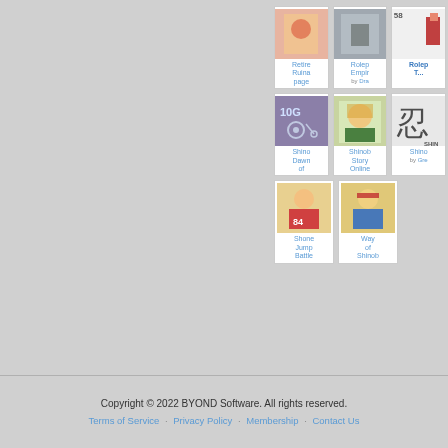[Figure (screenshot): Game grid showing partial view of BYOND game listings: Row 1: Retired Ruina page, Rolep Empir by Dra, (58) Rolep T...; Row 2: Shino Dawn of, Shinob Story Online, Shino by Gre; Row 3: Shone Jump Battle, Way of Shinob]
Copyright © 2022 BYOND Software. All rights reserved.
Terms of Service · Privacy Policy · Membership · Contact Us